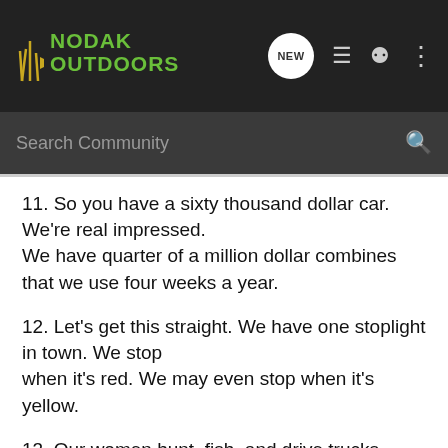NODAK OUTDOORS — navigation bar with NEW, list, user, and more icons
Search Community
11. So you have a sixty thousand dollar car. We're real impressed.
We have quarter of a million dollar combines that we use four weeks a year.
12. Let's get this straight. We have one stoplight in town. We stop
when it's red. We may even stop when it's yellow.
13. Our women hunt, fish, and drive trucks--because they want to. So, you're
a feminist. Isn't that cute.
14. Yeah, we eat catfish, carp too--and turtle. You really want